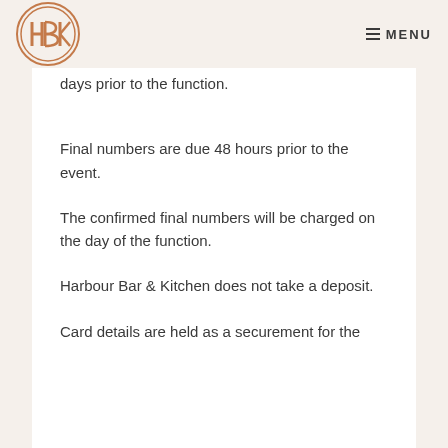[Figure (logo): HBK circular logo with copper/bronze coloring]
≡ MENU
days prior to the function.
Final numbers are due 48 hours prior to the event.
The confirmed final numbers will be charged on the day of the function.
Harbour Bar & Kitchen does not take a deposit.
Card details are held as a securement for the